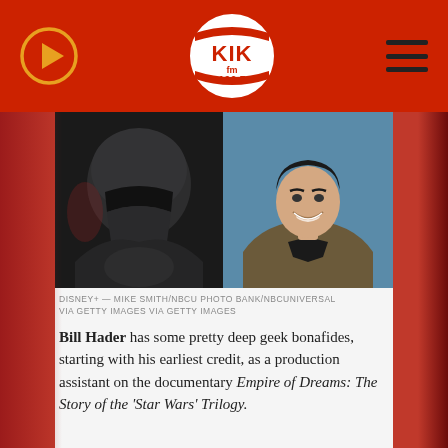KIK fm 100.7
[Figure (photo): Two side-by-side photos: left shows the Mandalorian character in dark beskar armor (Disney+), right shows Bill Hader smiling in a brown jacket at what appears to be a panel event.]
DISNEY+ — MIKE SMITH/NBCU PHOTO BANK/NBCUNIVERSAL VIA GETTY IMAGES VIA GETTY IMAGES
Bill Hader has some pretty deep geek bonafides, starting with his earliest credit, as a production assistant on the documentary Empire of Dreams: The Story of the 'Star Wars' Trilogy.